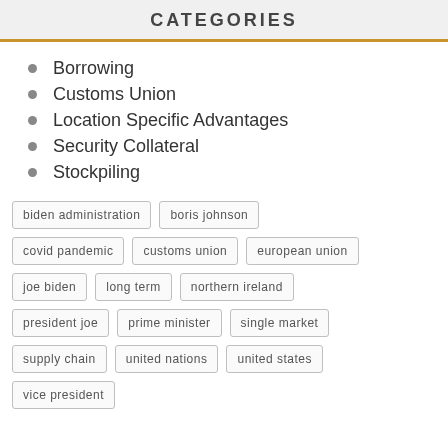CATEGORIES
Borrowing
Customs Union
Location Specific Advantages
Security Collateral
Stockpiling
biden administration
boris johnson
covid pandemic
customs union
european union
joe biden
long term
northern ireland
president joe
prime minister
single market
supply chain
united nations
united states
vice president